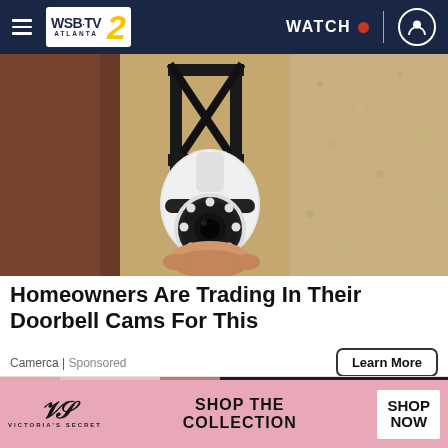WSB-TV 2 ATLANTA | WATCH | [user icon]
[Figure (photo): Security camera mounted on a wall bracket against a textured stucco exterior wall, white PTZ-style camera with LED ring, held by a hand]
Homeowners Are Trading In Their Doorbell Cams For This
Camerca | Sponsored
Learn More
[Figure (photo): Close-up of a woman wearing sparkling jewellery, partial view; advertisement for Victoria's Secret]
SHOP THE COLLECTION  SHOP NOW